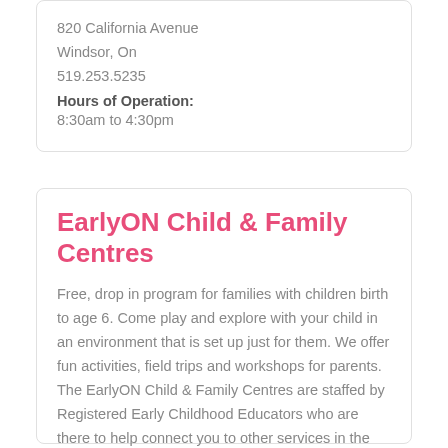820 California Avenue
Windsor, On
519.253.5235
Hours of Operation:
8:30am to 4:30pm
EarlyON Child & Family Centres
Free, drop in program for families with children birth to age 6.  Come play and explore with your child in an environment that is set up just for them.  We offer fun activities, field trips and workshops for parents.  The EarlyON Child & Family Centres are staffed by Registered Early Childhood Educators who are there to help connect you to other services in the community.  We have two locations to serve you!